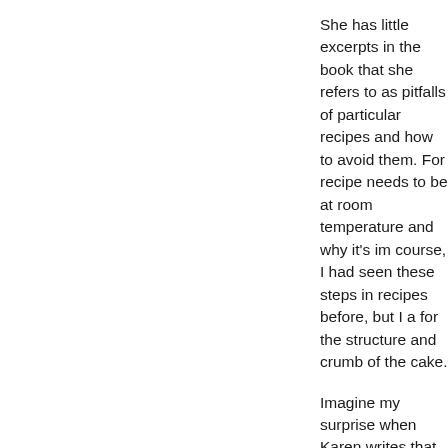She has little excerpts in the book that she refers to as pitfalls of particular recipes and how to avoid them. For recipe needs to be at room temperature and why it's im course, I had seen these steps in recipes before, but I a for the structure and crumb of the cake.
Imagine my surprise when Karen writes that pound cak delicate and moist. To my utter dismay and delight, this cakes. It is indeed delicate and full of almond flavor. Th can tell from my husband's reaction when a recipe is a were there. I cut one piece for us to share and there wa not enough and we shared another. He said it was the b the loaf.
My pound cake did sink a bit in the middle, which Karen not suppose to check in on your cake for 40 minutes, b tend to bake quickly in my ancient (but apparently effici two. My cake was a deep golden brown a bit early and next time. There will definitely be a next time. I love a g charming to me.
The pound cake is sweet and I recommend serving it w have written off the pound cake and want to remain in i However, if you like a good come-back story, you know